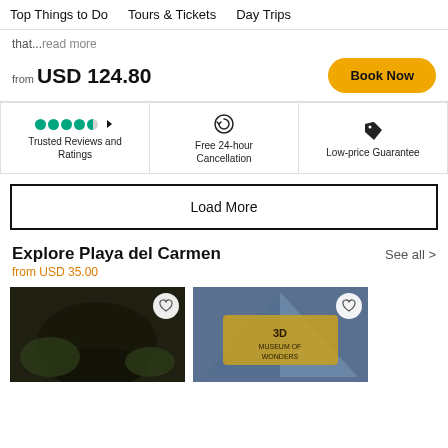Top Things to Do   Tours & Tickets   Day Trips
that...read more
from USD 124.80
[Figure (infographic): Trusted Reviews and Ratings (green dots rating), Free 24-hour Cancellation (refresh icon), Low-price Guarantee (tag icon)]
Load More
Explore Playa del Carmen
from USD 35.00
See all >
[Figure (photo): Dark cave/cenote photo with heart button]
[Figure (photo): 3D Museum of Wonders sign photo with heart button]